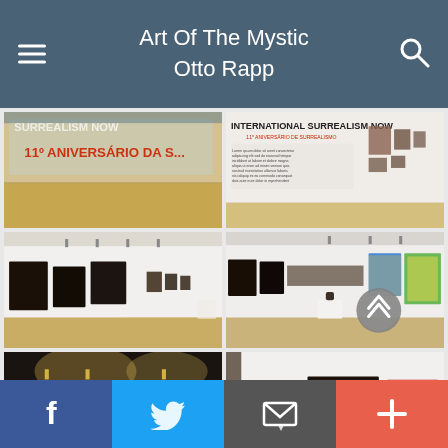Art Of The Mystic
Otto Rapp
[Figure (photo): Gallery interior with 'International Surrealism Now' banner and artwork on walls, text reading '11 Aniversario de Surrealismo']
[Figure (photo): Gallery wall with 'International Surrealism Now' text and artwork hung on white wall]
[Figure (photo): Gallery interior with dark paintings hung on white walls and wooden floor]
[Figure (photo): Gallery interior with colorful paintings on walls and a white pedestal, with navigation arrow overlay]
[Figure (photo): Gallery room with track lighting and wooden floor, partially visible]
[Figure (photo): Gallery interior with artwork on walls, partially visible]